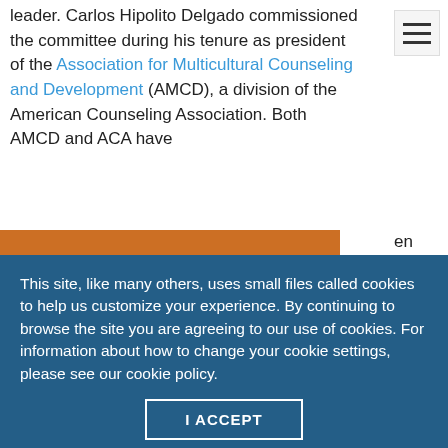leader. Carlos Hipolito Delgado commissioned the committee during his tenure as president of the Association for Multicultural Counseling and Development (AMCD), a division of the American Counseling Association. Both AMCD and ACA have endorsed th
[Figure (photo): Group of diverse people holding up portrait photos of faces, with a gavel in the foreground on orange background]
This site, like many others, uses small files called cookies to help us customize your experience. By continuing to browse the site you are agreeing to our use of cookies. For information about how to change your cookie settings, please see our cookie policy.